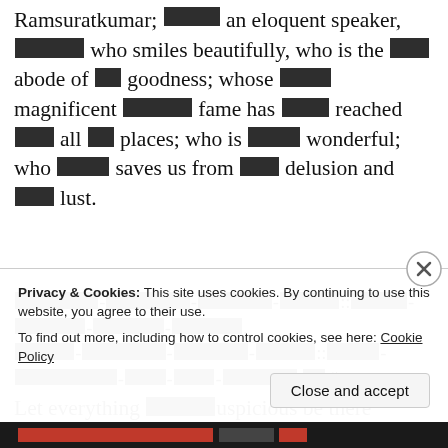Ramsuratkumar; [blocked] an eloquent speaker, [blocked] who smiles beautifully, who is the [blocked] abode of [blocked] goodness; whose [blocked] magnificent [blocked] fame has [blocked] reached [blocked] all [blocked] places; who is [blocked] wonderful; who [blocked] saves us from [blocked] delusion and [blocked] lust.
[blocked verse in Sanskrit/Tamil]
Let everything [blocked]uspicious be there for the
Privacy & Cookies: This site uses cookies. By continuing to use this website, you agree to their use. To find out more, including how to control cookies, see here: Cookie Policy
Close and accept